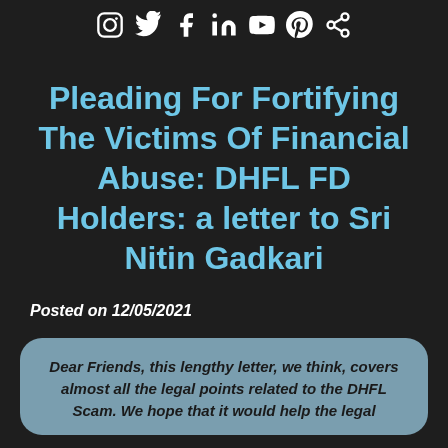[Social media icons: Instagram, Twitter, Facebook, LinkedIn, YouTube, Pinterest, Share]
Pleading For Fortifying The Victims Of Financial Abuse: DHFL FD Holders: a letter to Sri Nitin Gadkari
Posted on 12/05/2021
Dear Friends, this lengthy letter, we think, covers almost all the legal points related to the DHFL Scam. We hope that it would help the legal